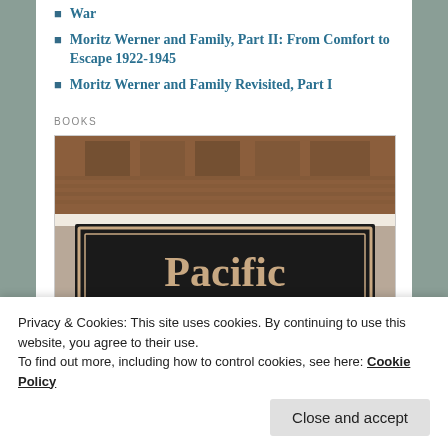War
Moritz Werner and Family, Part II: From Comfort to Escape 1922-1945
Moritz Werner and Family Revisited, Part I
BOOKS
[Figure (photo): Book cover for 'Pacific Street' showing a black sign with tan serif text reading 'Pacific Street', with a brick building facade visible above]
Privacy & Cookies: This site uses cookies. By continuing to use this website, you agree to their use.
To find out more, including how to control cookies, see here: Cookie Policy
Close and accept